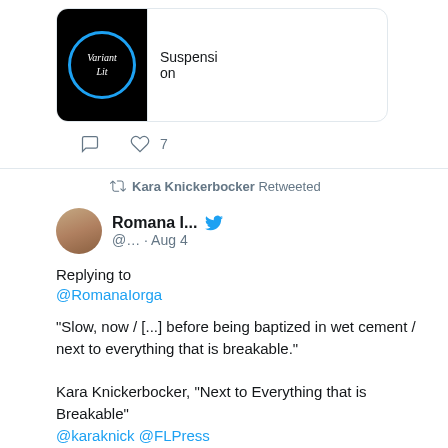[Figure (screenshot): Variant Lit logo — black circle with blue outline, italic text 'Variant Lit' inside]
Suspension
7 likes
Kara Knickerbocker Retweeted
Romana I... @... · Aug 4
Replying to @RomanaIorga
“Slow, now / [...] before being baptized in wet cement / next to everything that is breakable.”

Kara Knickerbocker, “Next to Everything that is Breakable”
@karaknick @FLPress